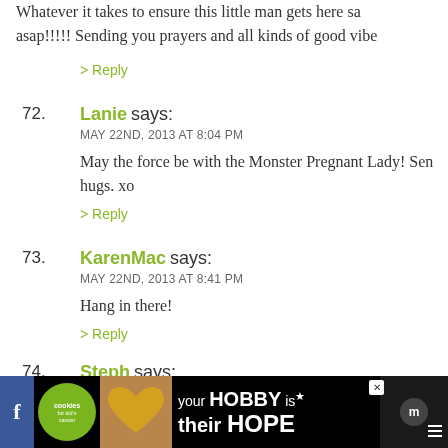Whatever it takes to ensure this little man gets here safe asap!!!!! Sending you prayers and all kinds of good vibe
> Reply
72. Lanie says:
MAY 22ND, 2013 AT 8:04 PM
May the force be with the Monster Pregnant Lady! Sen... hugs. xo
> Reply
73. KarenMac says:
MAY 22ND, 2013 AT 8:41 PM
Hang in there!
> Reply
74. Steph says:
MAY 22ND, 2013 AT 9:13 PM
You rock for keeping it breezy all this time. Now you, av
[Figure (screenshot): Advertisement banner for 'cookies for kid's cancer' charity with text 'your HOBBY is their HOPE']